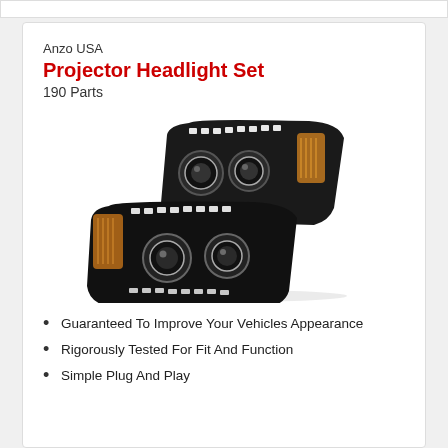Anzo USA
Projector Headlight Set
190 Parts
[Figure (photo): A pair of black projector headlights with LED daytime running light strips, dual projector lenses, and amber corner lights, shown from a front-angled perspective.]
Guaranteed To Improve Your Vehicles Appearance
Rigorously Tested For Fit And Function
Simple Plug And Play